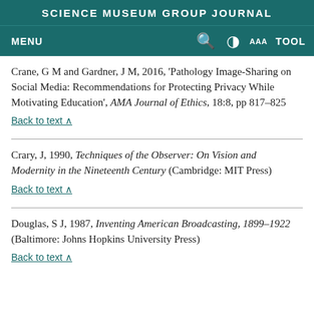SCIENCE MUSEUM GROUP JOURNAL
MENU  🔍  ◑  AAA  TOOL
Crane, G M and Gardner, J M, 2016, 'Pathology Image-Sharing on Social Media: Recommendations for Protecting Privacy While Motivating Education', AMA Journal of Ethics, 18:8, pp 817–825
Back to text ∧
Crary, J, 1990, Techniques of the Observer: On Vision and Modernity in the Nineteenth Century (Cambridge: MIT Press)
Back to text ∧
Douglas, S J, 1987, Inventing American Broadcasting, 1899–1922 (Baltimore: Johns Hopkins University Press)
Back to text ∧